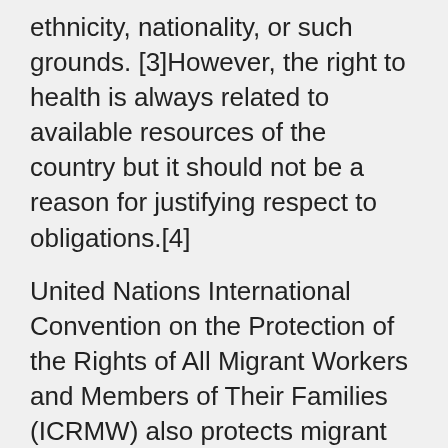ethnicity, nationality, or such grounds. [3]However, the right to health is always related to available resources of the country but it should not be a reason for justifying respect to obligations.[4]
United Nations International Convention on the Protection of the Rights of All Migrant Workers and Members of Their Families (ICRMW) also protects migrant workers. Article 01 of the Conventions says it applies to all migrant workers and their families without any discrimination. And article 28 of the Convention states that all migrant workers and members of their families have